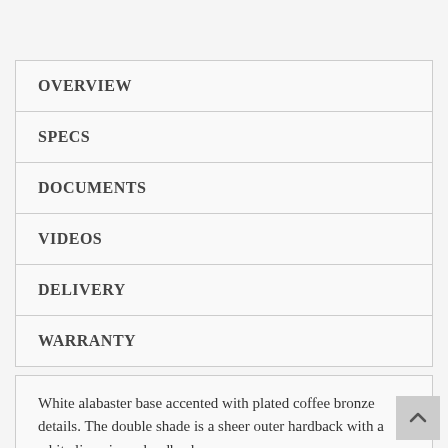OVERVIEW
SPECS
DOCUMENTS
VIDEOS
DELIVERY
WARRANTY
White alabaster base accented with plated coffee bronze details. The double shade is a sheer outer hardback with a white linen inner hardback.